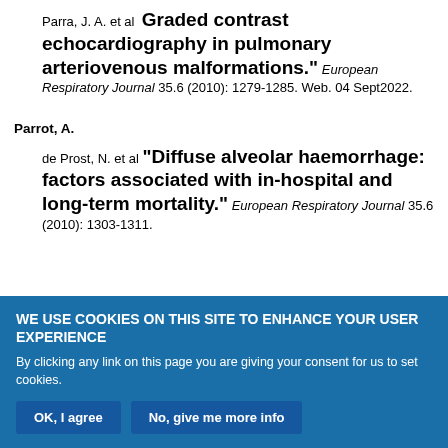Parra, J. A. et al  Graded contrast echocardiography in pulmonary arteriovenous malformations." European Respiratory Journal 35.6 (2010): 1279-1285. Web. 04 Sept2022.
Parrot, A.
de Prost, N. et al "Diffuse alveolar haemorrhage: factors associated with in-hospital and long-term mortality." European Respiratory Journal 35.6 (2010): 1303-1311. Web. 04 Sept 2022.
WE USE COOKIES ON THIS SITE TO ENHANCE YOUR USER EXPERIENCE
By clicking any link on this page you are giving your consent for us to set cookies.